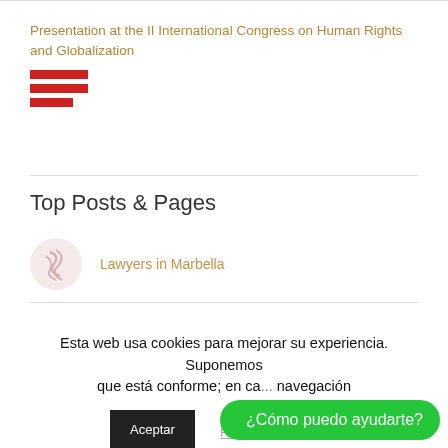Presentation at the II International Congress on Human Rights and Globalization
[Figure (illustration): Red horizontal bars icon (hamburger menu style), three bars of decreasing width]
Top Posts & Pages
Lawyers in Marbella
Trial about famous alleged homicide case took place in Malaga with the intervention of Antonio
Esta web usa cookies para mejorar su experiencia. Suponemos que está conforme; en ca... navegación
[Figure (other): WhatsApp button with text ¿Cómo puedo ayudarte?]